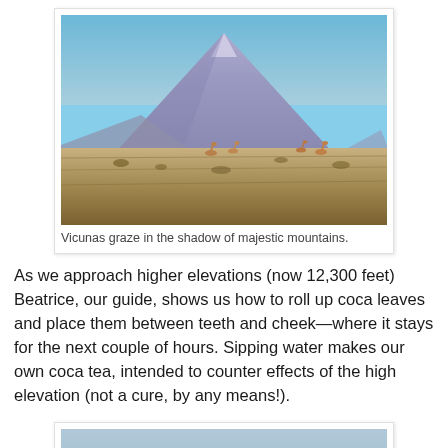[Figure (photo): A large purple-blue volcano or mountain dominates the background under a clear blue sky. In the foreground, a flat arid scrubby plain with vicuna animals grazing.]
Vicunas graze in the shadow of majestic mountains.
As we approach higher elevations (now 12,300 feet) Beatrice, our guide, shows us how to roll up coca leaves and place them between teeth and cheek—where it stays for the next couple of hours. Sipping water makes our own coca tea, intended to counter effects of the high elevation (not a cure, by any means!).
[Figure (photo): Two people wearing wide-brimmed hats in the foreground, with a mountain landscape and a town visible in the valley behind them.]